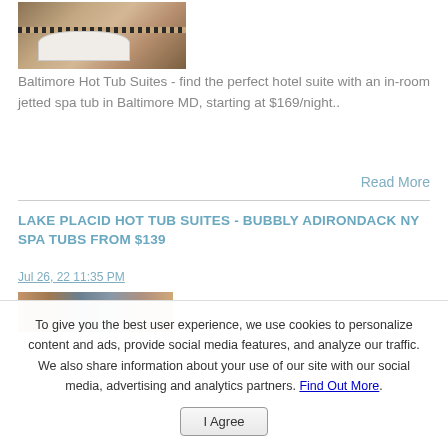[Figure (photo): Bathroom with jetted spa tub, decorative tile strip, warm tan stone walls]
Baltimore Hot Tub Suites - find the perfect hotel suite with an in-room jetted spa tub in Baltimore MD, starting at $169/night..
Read More
LAKE PLACID HOT TUB SUITES - BUBBLY ADIRONDACK NY SPA TUBS FROM $139
Jul 26, 22 11:35 PM
[Figure (photo): Partial view of hotel room or spa area, cropped]
To give you the best user experience, we use cookies to personalize content and ads, provide social media features, and analyze our traffic. We also share information about your use of our site with our social media, advertising and analytics partners. Find Out More.
I Agree